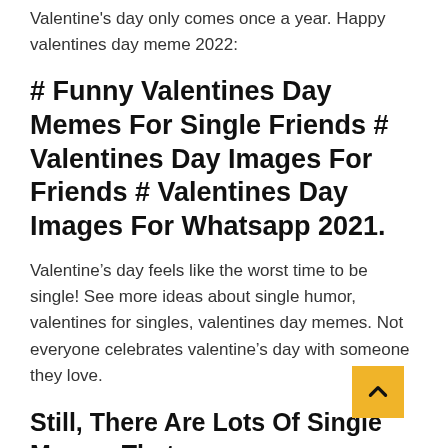Valentine's day only comes once a year. Happy valentines day meme 2022:
# Funny Valentines Day Memes For Single Friends # Valentines Day Images For Friends # Valentines Day Images For Whatsapp 2021.
Valentine’s day feels like the worst time to be single! See more ideas about single humor, valentines for singles, valentines day memes. Not everyone celebrates valentine’s day with someone they love.
Still, There Are Lots Of Single Memes That.